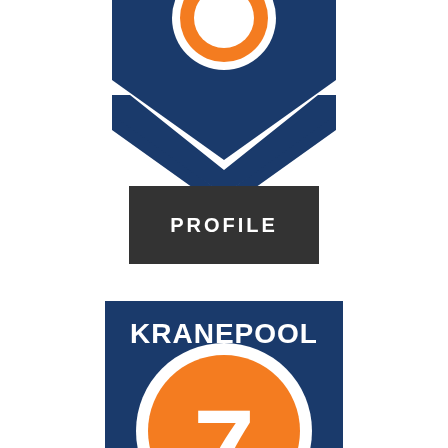[Figure (logo): Top portion of a baseball card or team logo showing a dark navy blue shield/diamond shape with an orange circle containing a white design element at the top, and a downward-pointing chevron at the bottom. New York Mets style colors.]
[Figure (logo): Dark charcoal/black rectangular button with the word PROFILE in white uppercase letters centered within it.]
[Figure (logo): Bottom portion of a baseball card showing a dark navy blue square with the name KRANEPOOL in bold white text at the top, and a large orange circle with a white ring border containing the number 7 in white. New York Mets style Ed Kranepool card.]